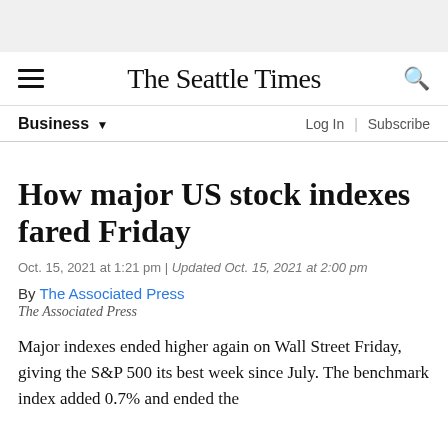The Seattle Times
Business
How major US stock indexes fared Friday
Oct. 15, 2021 at 1:21 pm | Updated Oct. 15, 2021 at 2:00 pm
By The Associated Press
The Associated Press
Major indexes ended higher again on Wall Street Friday, giving the S&P 500 its best week since July. The benchmark index added 0.7% and ended the